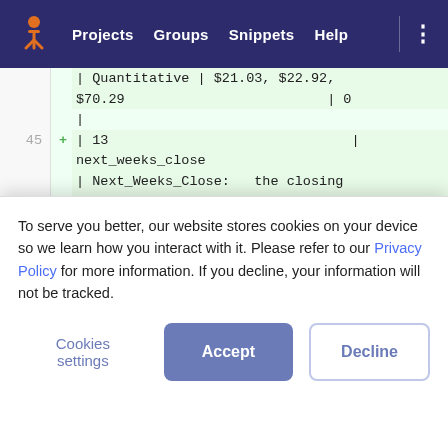[Figure (screenshot): Navigation bar of a web application with logo, Projects, Groups, Snippets, Help links on dark purple background]
| Quantitative | $21.03, $22.92, $70.29                         | 0
|
45 + | 13                              |
next_weeks_close
| Next_Weeks_Close:   the closing price of the stock in the following week
| Quantitative | $21.46, $22.21, $73.34                         | 0
|
46 + | 14                              |
percent_change_next_weeks_price
To serve you better, our website stores cookies on your device so we learn how you interact with it. Please refer to our Privacy Policy for more information. If you decline, your information will not be tracked.
Cookies settings   Accept   Decline